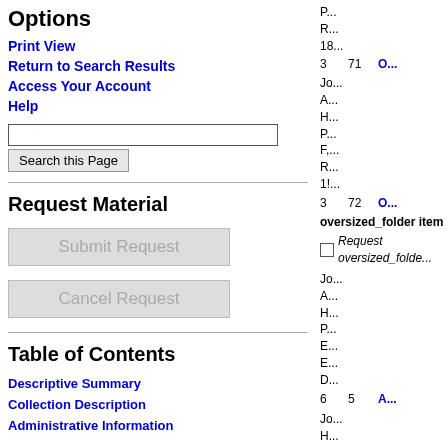Options
Print View
Return to Search Results
Access Your Account
Help
[Figure (other): Search input field and 'Search this Page' button]
Request Material
Submit Request
Cancel Request
Table of Contents
Descriptive Summary
Collection Description
Administrative Information
3  71  O...
Row metadata: Jo... A... H... P... F,... R... 1!...
3  72  O...
oversized_folder item
Request oversized_folde...
Jo... A... H... P... E... E... D...
6  5  A...
Jo... H... -... W...